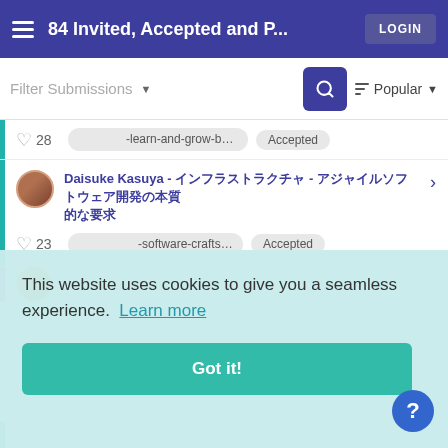84 Invited, Accepted and P... LOGIN
Filter Submissions ▼  🔍  Popular ▼
♡ 28  [Japanese]-learn-and-grow-by-team  Accepted
Daisuke Kasuya - [Japanese] - [Japanese Japanese]  ♡ 23  [Japanese]-software-craftsmanship  Accepted
This website uses cookies to give you a seamless experience. Learn more
Got it!